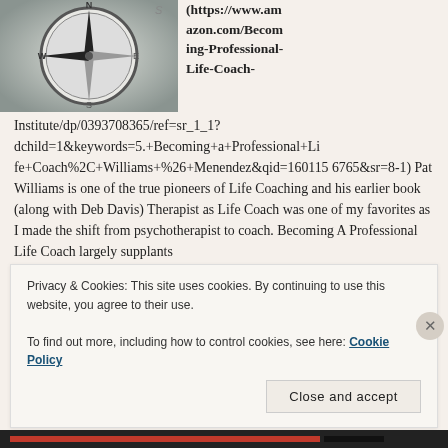[Figure (photo): Compass rose image with directional arrows, black and white, top-left of page]
(https://www.amazon.com/Becoming-Professional-Life-Coach-Institute/dp/0393708365/ref=sr_1_1?dchild=1&keywords=5.+Becoming+a+Professional+Life+Coach%2C+Williams+%26+Menendez&qid=1601156765&sr=8-1) Pat Williams is one of the true pioneers of Life Coaching and his earlier book (along with Deb Davis) Therapist as Life Coach was one of my favorites as I made the shift from psychotherapist to coach. Becoming A Professional Life Coach largely supplants
Privacy & Cookies: This site uses cookies. By continuing to use this website, you agree to their use.
To find out more, including how to control cookies, see here: Cookie Policy
Close and accept